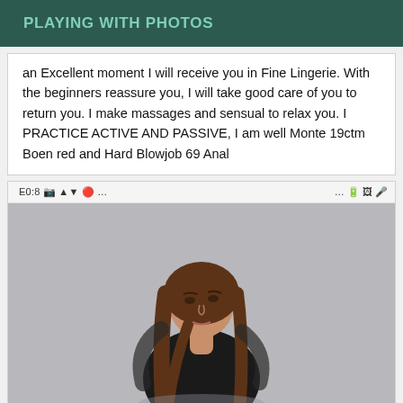PLAYING WITH PHOTOS
an Excellent moment I will receive you in Fine Lingerie. With the beginners reassure you, I will take good care of you to return you. I make massages and sensual to relax you. I PRACTICE ACTIVE AND PASSIVE, I am well Monte 19ctm Boen red and Hard Blowjob 69 Anal
[Figure (screenshot): Screenshot of a mobile phone showing a woman with long brown hair posing in a black outfit against a light gray background. The status bar at the top shows time 8:0E and various status icons.]